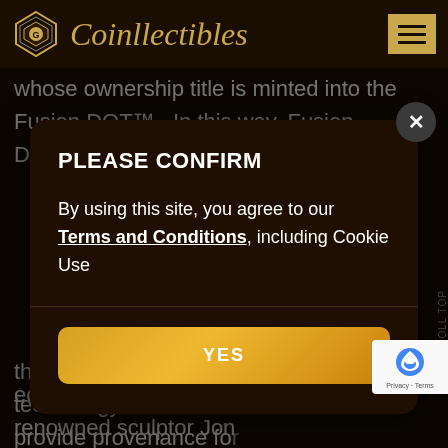Coinllectibles
whose ownership title is minted into the Fusion DOT™.  In this way, Fusion DOT™  buyers not only get
PLEASE CONFIRM
By using this site, you agree to our Terms and Conditions, including Cookie Use
YES
the-art identification and blockchain technology to authenticate as well as provide provenance for collectibles.  This is akin to using the facial
ecial collection of pieces from world renowned sculptor Jon